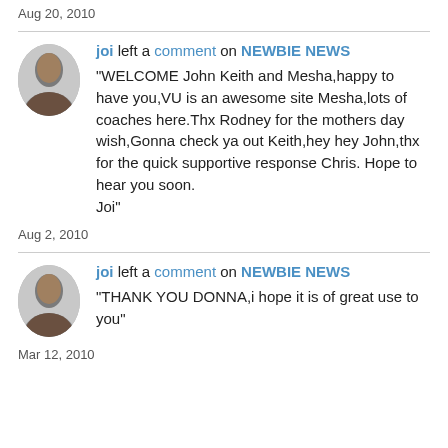Aug 20, 2010
joi left a comment on NEWBIE NEWS
"WELCOME John Keith and Mesha,happy to have you,VU is an awesome site Mesha,lots of coaches here.Thx Rodney for the mothers day wish,Gonna check ya out Keith,hey hey John,thx for the quick supportive response Chris. Hope to hear you soon.
Joi"
Aug 2, 2010
joi left a comment on NEWBIE NEWS
"THANK YOU DONNA,i hope it is of great use to you"
Mar 12, 2010